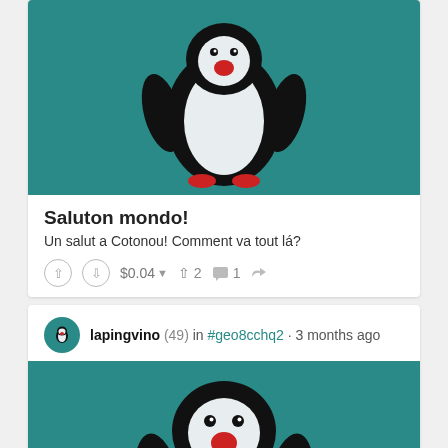[Figure (illustration): Cartoon fat penguin on teal/dark cyan background, with red beak and red feet, arms outstretched]
Saluton mondo!
Un salut a Cotonou! Comment va tout lá?
↑ ↓ $0.04 ▾  ↑ 2  💬 1  ⟲
lapingvino (49) in #geo8cchq2 • 3 months ago
[Figure (illustration): Close-up of same cartoon penguin on teal background, showing head and upper body with red beak]